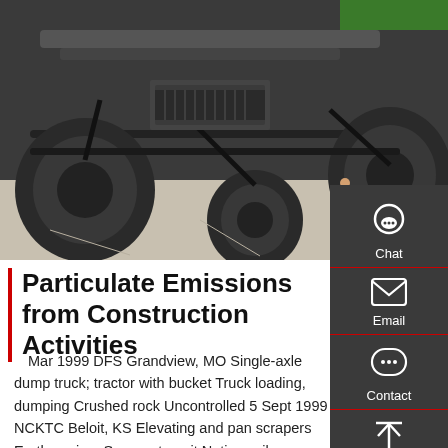[Figure (photo): Undercarriage view of a construction truck/vehicle, showing axles, tires, frame, and mechanical components from below, taken outdoors on a paved surface.]
Particulate Emissions from Construction Activities
Mar 1999 DFS Grandview, MO Single-axle dump truck; tractor with bucket Truck loading, dumping Crushed rock Uncontrolled 5 Sept 1999 NCKTC Beloit, KS Elevating and pan scrapers Earthmoving: Scraper transit Native soil Uncontrolled Watering 4 15